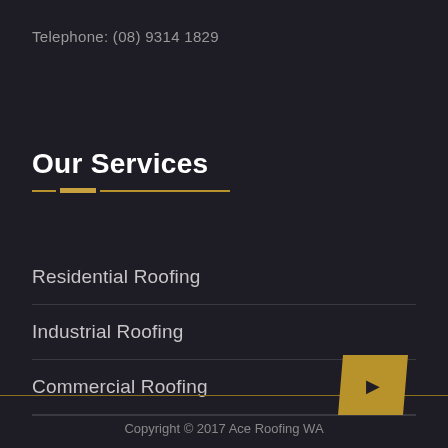Telephone: (08) 9314 1829
Our Services
Residential Roofing
Industrial Roofing
Commercial Roofing
[Figure (other): Gold parallelogram badge with scroll/arrow icon]
Copyright © 2017 Ace Roofing WA